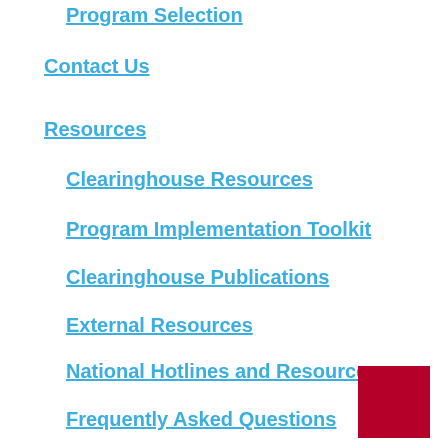Program Selection
Contact Us
Resources
Clearinghouse Resources
Program Implementation Toolkit
Clearinghouse Publications
External Resources
National Hotlines and Resources
Frequently Asked Questions
Continuum
Submit a Program
Request Fact Sheet Update
Projects
Current Projects